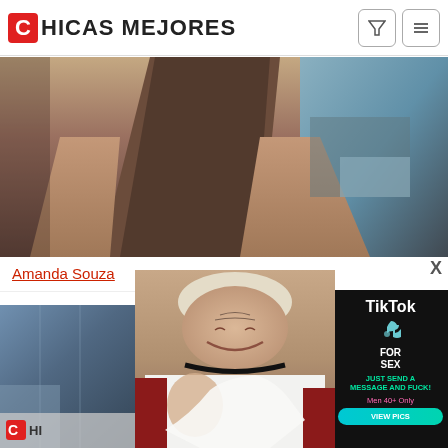CHICAS MEJORES
[Figure (photo): Main header photo showing legs and background]
Amanda Souza
[Figure (photo): Bottom left photo with watermark CHI]
[Figure (photo): Center photo of blonde older woman]
[Figure (advertisement): TikTok for Sex ad panel - JUST SEND A MESSAGE AND FUCK! Men 40+ Only VIEW PICS]
[Figure (photo): Popup overlay photo of blonde smiling older woman]